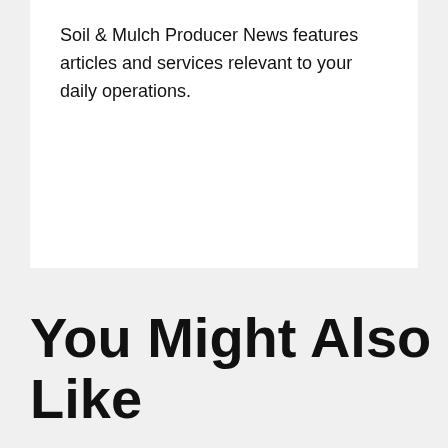Soil & Mulch Producer News features articles and services relevant to your daily operations.
You Might Also Like